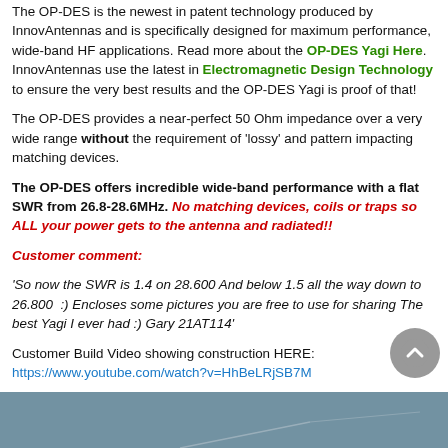The OP-DES is the newest in patent technology produced by InnovAntennas and is specifically designed for maximum performance, wide-band HF applications. Read more about the OP-DES Yagi Here. InnovAntennas use the latest in Electromagnetic Design Technology to ensure the very best results and the OP-DES Yagi is proof of that!
The OP-DES provides a near-perfect 50 Ohm impedance over a very wide range without the requirement of 'lossy' and pattern impacting matching devices.
The OP-DES offers incredible wide-band performance with a flat SWR from 26.8-28.6MHz. No matching devices, coils or traps so ALL your power gets to the antenna and radiated!!
Customer comment:
'So now the SWR is 1.4 on 28.600 And below 1.5 all the way down to 26.800  :) Encloses some pictures you are free to use for sharing The best Yagi I ever had :) Gary 21AT114'
Customer Build Video showing construction HERE: https://www.youtube.com/watch?v=HhBeLRjSB7M
[Figure (photo): Bottom portion of an antenna photo with blue-grey sky background]